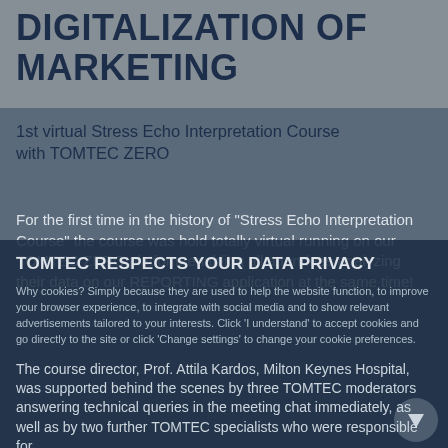DIGITALIZATION OF MARKETING
1st virtual Stress Echo Interpretation Course with TOMTEC ZERO
For the first time in the history of “Stress Echo Interpretation Course” the course was hold totally virtual running on our TOMTEC ZERO platform enabling all attendees analyzing their data on our REPORTING application at the same time!
TOMTEC respects your data privacy
Why cookies? Simply because they are used to help the website function, to improve your browser experience, to integrate with social media and to show relevant advertisements tailored to your interests. Click ‘I understand’ to accept cookies and go directly to the site or click ‘Change settings’ to change your cookie preferences.
The course director, Prof. Attila Kardos, Milton Keynes Hospital, was supported behind the scenes by three TOMTEC moderators answering technical queries in the meeting chat immediately, as well as by two further TOMTEC specialists who were responsible for
I UNDERSTAND
CHANGE SETTINGS
READ MORE